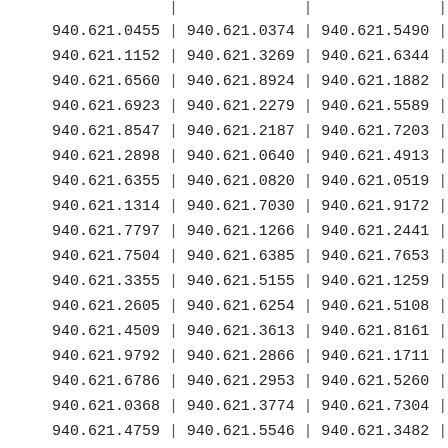| 940.621.0455 | | | 940.621.0374 | | | 940.621.5490 | | |
| 940.621.1152 | | | 940.621.3269 | | | 940.621.6344 | | |
| 940.621.6560 | | | 940.621.8924 | | | 940.621.1882 | | |
| 940.621.6923 | | | 940.621.2279 | | | 940.621.5589 | | |
| 940.621.8547 | | | 940.621.2187 | | | 940.621.7203 | | |
| 940.621.2898 | | | 940.621.0640 | | | 940.621.4913 | | |
| 940.621.6355 | | | 940.621.0820 | | | 940.621.0519 | | |
| 940.621.1314 | | | 940.621.7030 | | | 940.621.9172 | | |
| 940.621.7797 | | | 940.621.1266 | | | 940.621.2441 | | |
| 940.621.7504 | | | 940.621.6385 | | | 940.621.7653 | | |
| 940.621.3355 | | | 940.621.5155 | | | 940.621.1259 | | |
| 940.621.2605 | | | 940.621.6254 | | | 940.621.5108 | | |
| 940.621.4509 | | | 940.621.3613 | | | 940.621.8161 | | |
| 940.621.9792 | | | 940.621.2866 | | | 940.621.1711 | | |
| 940.621.6786 | | | 940.621.2953 | | | 940.621.5260 | | |
| 940.621.0368 | | | 940.621.3774 | | | 940.621.7304 | | |
| 940.621.4759 | | | 940.621.5546 | | | 940.621.3482 | | |
| 940.621.5923 | | | 940.621.5520 | | | 940.621.5972 | | |
| 940.621.5356 | | | 940.621.4370 | | | 940.621.0101 | | |